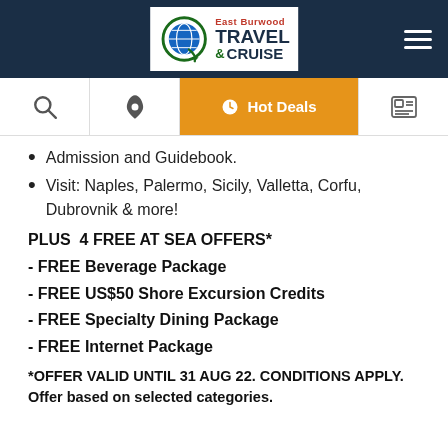East Burwood Travel & Cruise
Admission and Guidebook.
Visit: Naples, Palermo, Sicily, Valletta, Corfu, Dubrovnik & more!
PLUS 4 FREE AT SEA OFFERS*
- FREE Beverage Package
- FREE US$50 Shore Excursion Credits
- FREE Specialty Dining Package
- FREE Internet Package
*OFFER VALID UNTIL 31 AUG 22. CONDITIONS APPLY. Offer based on selected categories.